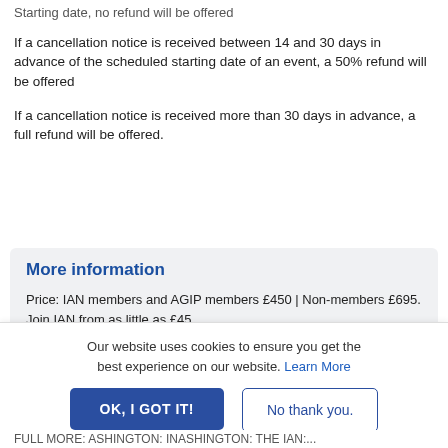Starting date, no refund will be offered
If a cancellation notice is received between 14 and 30 days in advance of the scheduled starting date of an event, a 50% refund will be offered
If a cancellation notice is received more than 30 days in advance, a full refund will be offered.
More information
Price: IAN members and AGIP members £450 | Non-members £695. Join IAN from as little as £45
Event URL: https://www.eventbrite.com/e/133698324287
Organisation: International Attachment Network
Our website uses cookies to ensure you get the best experience on our website. Learn More
OK, I GOT IT!
No thank you.
FULL MORE: ASHINGTON: INASHINGTON: THE IAN:...